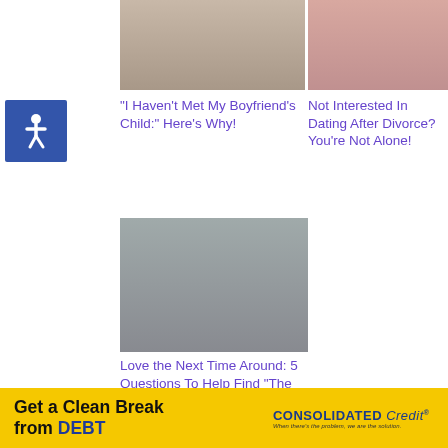[Figure (photo): Person with arms crossed (top left article image)]
[Figure (photo): Woman in red top with arms raised (top right article image)]
[Figure (illustration): Accessibility/wheelchair icon on blue background]
"I Haven't Met My Boyfriend's Child:" Here's Why!
Not Interested In Dating After Divorce? You're Not Alone!
[Figure (photo): Close-up of couple (man and woman) looking at each other]
Love the Next Time Around: 5 Questions To Help Find "The One"
[Figure (photo): Group of people in dispute/argument scene indoors]
3 Things To Do Before You Date Again After
Dating after Divorce: Going Nowhere with That Man
Throughout 2012 I have been fortunate to share my time with a few really
[Figure (infographic): Consolidated Credit advertisement banner: Get a Clean Break from DEBT]